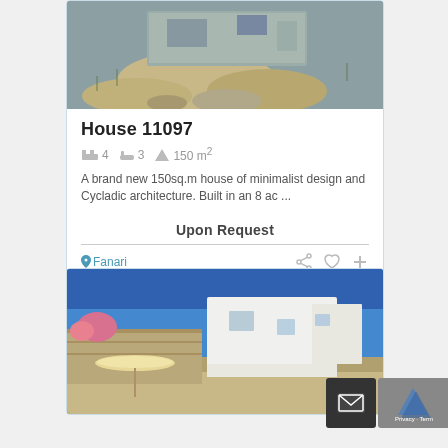[Figure (photo): Exterior photo of a stone house with rocky terrain and sparse vegetation in the foreground]
House 11097
4  3  150 m²
A brand new 150sq.m house of minimalist design and Cycladic architecture. Built in an 8 ac ...
Upon Request
Fanari
[Figure (photo): Exterior photo of a white Cycladic-style building with blue sky, umbrella, and stone wall in foreground]